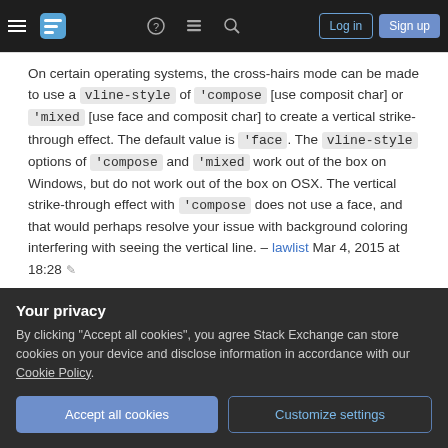Stack Exchange navigation header with hamburger menu, logo, help, chat, search icons, Log in and Sign up buttons
On certain operating systems, the cross-hairs mode can be made to use a vline-style of 'compose [use composit char] or 'mixed [use face and composit char] to create a vertical strike-through effect. The default value is 'face. The vline-style options of 'compose and 'mixed work out of the box on Windows, but do not work out of the box on OSX. The vertical strike-through effect with 'compose does not use a face, and that would perhaps resolve your issue with background coloring interfering with seeing the vertical line. – lawlist Mar 4, 2015 at 18:28
Your privacy
By clicking "Accept all cookies", you agree Stack Exchange can store cookies on your device and disclose information in accordance with our Cookie Policy.
Finally found more or less satisfactory solution